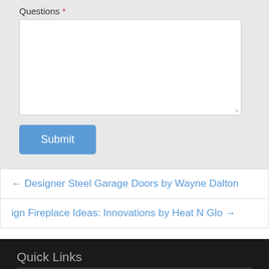Questions *
[Figure (screenshot): A textarea input box for submitting questions]
Submit
← Designer Steel Garage Doors by Wayne Dalton
ign Fireplace Ideas: Innovations by Heat N Glo →
Quick Links